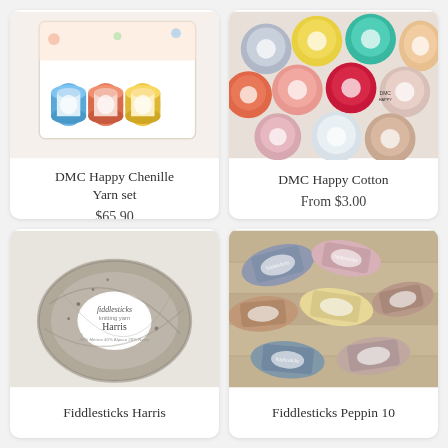[Figure (photo): DMC Happy Chenille Yarn set product photo showing colorful yarn spools in a decorative box]
DMC Happy Chenille Yarn set
$65.90
[Figure (photo): DMC Happy Cotton product photo showing multiple colorful yarn balls]
DMC Happy Cotton
From $3.00
[Figure (photo): Fiddlesticks Harris yarn ball photo, grey tweed style]
Fiddlesticks Harris
[Figure (photo): Fiddlesticks Peppin 10 yarn skeins photo in pastel and muted colors on wooden background]
Fiddlesticks Peppin 10